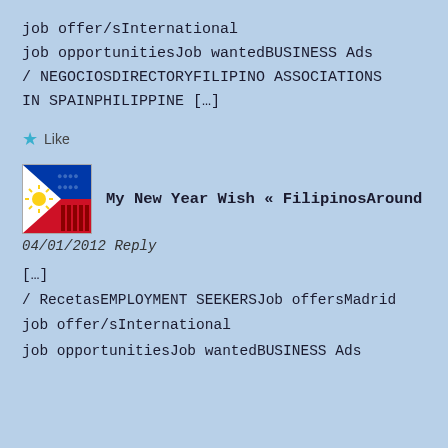job offer/sInternational
job opportunitiesJob wantedBUSINESS Ads
/ NEGOCIOSDIRECTORYFILIPINO ASSOCIATIONS
IN SPAINPHILIPPINE […]
★ Like
[Figure (illustration): Philippine flag themed avatar image with blue, red, white flag colors and yellow sun/stars design]
My New Year Wish « FilipinosAround
04/01/2012 Reply
[…]
/ RecetasEMPLOYMENT SEEKERSJob offersMadrid
job offer/sInternational
job opportunitiesJob wantedBUSINESS Ads